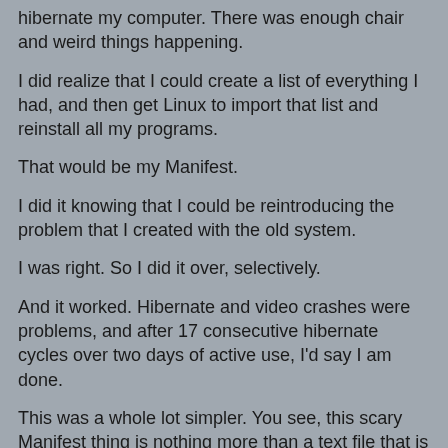hibernate my computer.  There was enough  chair  and weird things happening.
I did realize that I could create a list of everything I had, and then get Linux to import that list and reinstall all my programs.
That would be my Manifest.
I did it knowing that I could be reintroducing the problem that I created with the old system.
I was right.  So I did it over, selectively.
And it worked.  Hibernate and video crashes were problems, and after 17 consecutive hibernate cycles over two days of active use, I'd say I am done.
This was a whole lot simpler.  You see, this scary Manifest thing is nothing more than a text file that is generated within "Synaptic" that contains all the markings of the programs that I installed over the 7 years that I had that Linux install.